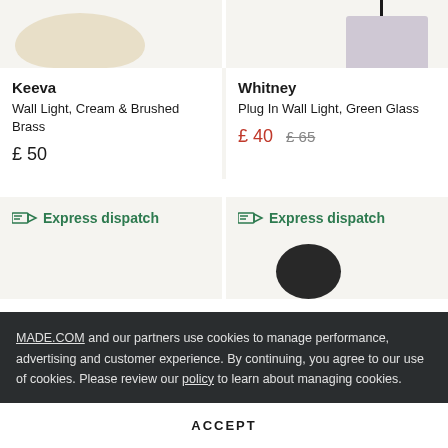[Figure (photo): Product image of Keeva Wall Light, cream colored lamp shade, cropped from top]
[Figure (photo): Product image of Whitney Plug In Wall Light, green glass shade with black cord, cropped from top]
Keeva
Wall Light, Cream & Brushed Brass
£ 50
Whitney
Plug In Wall Light, Green Glass
£ 40  £ 65
Express dispatch
Express dispatch
[Figure (photo): Bottom portion of product images, partially visible, with dark ball-shaped lamp visible on right]
MADE.COM and our partners use cookies to manage performance, advertising and customer experience. By continuing, you agree to our use of cookies. Please review our policy to learn about managing cookies.
ACCEPT